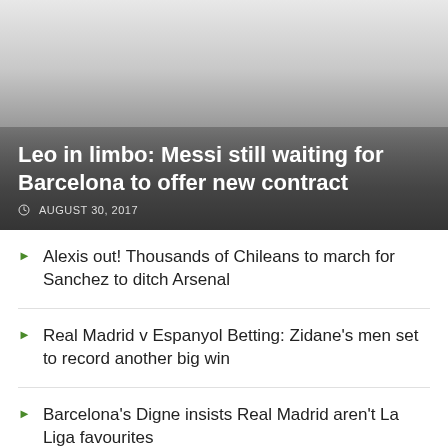[Figure (photo): Hero image with gradient overlay showing a sports news article header]
Leo in limbo: Messi still waiting for Barcelona to offer new contract
AUGUST 30, 2017
Alexis out! Thousands of Chileans to march for Sanchez to ditch Arsenal
Real Madrid v Espanyol Betting: Zidane's men set to record another big win
Barcelona's Digne insists Real Madrid aren't La Liga favourites